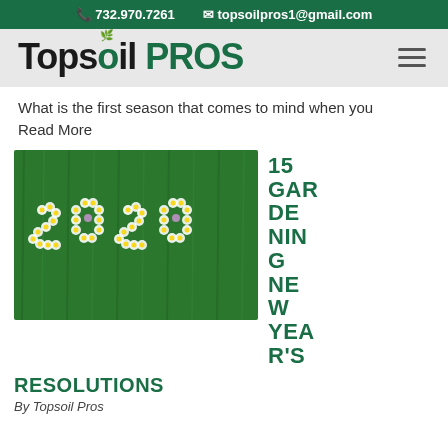732.970.7261   topsoilpros1@gmail.com
[Figure (logo): Topsoil PROS logo with green leaf accent on the 'o' in Topsoil, followed by PROS in green text]
What is the first season that comes to mind when you
Read More
[Figure (photo): 2020 spelled out with white daisy flowers and purple clover on green grass background]
15 GARDENING NEW YEAR'S RESOLUTIONS
By Topsoil Pros